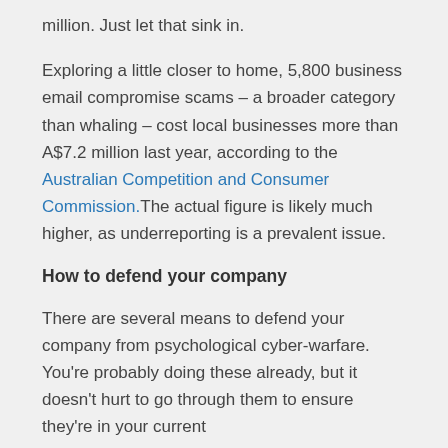million. Just let that sink in.
Exploring a little closer to home, 5,800 business email compromise scams – a broader category than whaling – cost local businesses more than A$7.2 million last year, according to the Australian Competition and Consumer Commission. The actual figure is likely much higher, as underreporting is a prevalent issue.
How to defend your company
There are several means to defend your company from psychological cyber-warfare. You're probably doing these already, but it doesn't hurt to go through them to ensure they're in your current